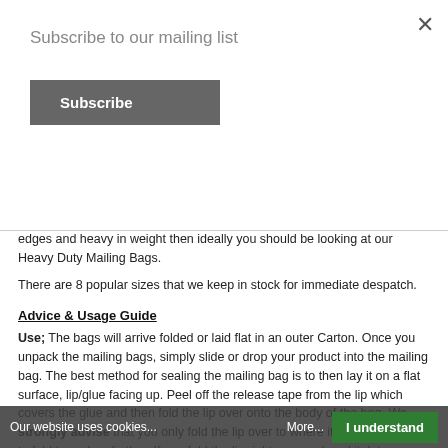Subscribe to our mailing list
edges and heavy in weight then ideally you should be looking at our Heavy Duty Mailing Bags.
There are 8 popular sizes that we keep in stock for immediate despatch.
Advice & Usage Guide
Use;  The bags will arrive folded or laid flat in an outer Carton.  Once you unpack the mailing bags, simply slide or drop your product into the mailing bag.  The best method for sealing the mailing bag is to then lay it on a flat surface, lip/glue facing up.  Peel off the release tape from the lip which covers the glue and then fold the lip over onto the body of the bag.  We strongly advise that you only fold the lip over to where it naturally wants to fold to and no further.  If you fold the lip right over and seal it, lets say half way down the bag, then there is a chance that the glue will not form a perfect bond and the bags could come open.  We specially treat the mailing bag glue strip and this helps with the bond formed by the glue migrating into the film.
Our website uses cookies... More... I understand